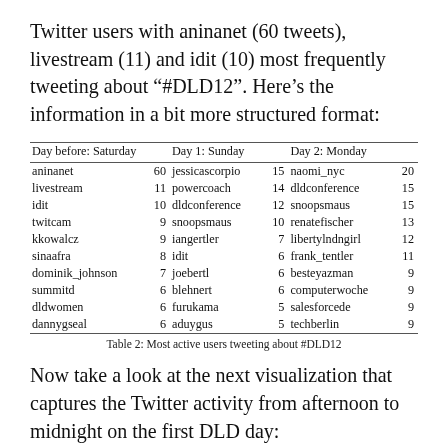Twitter users with aninanet (60 tweets), livestream (11) and idit (10) most frequently tweeting about "#DLD12". Here's the information in a bit more structured format:
| Day before: Saturday |  | Day 1: Sunday |  | Day 2: Monday |  |
| --- | --- | --- | --- | --- | --- |
| aninanet | 60 | jessicascorpio | 15 | naomi_nyc | 20 |
| livestream | 11 | powercoach | 14 | dldconference | 15 |
| idit | 10 | dldconference | 12 | snoopsmaus | 15 |
| twitcam | 9 | snoopsmaus | 10 | renatefischer | 13 |
| kkowalcz | 9 | iangertler | 7 | libertylndngirl | 12 |
| sinaafra | 8 | idit | 6 | frank_tentler | 11 |
| dominik_johnson | 7 | joebertl | 6 | besteyazman | 9 |
| summitd | 6 | blehnert | 6 | computerwoche | 9 |
| dldwomen | 6 | furukama | 5 | salesforcede | 9 |
| dannygseal | 6 | aduygus | 5 | techberlin | 9 |
Table 2: Most active users tweeting about #DLD12
Now take a look at the next visualization that captures the Twitter activity from afternoon to midnight on the first DLD day: